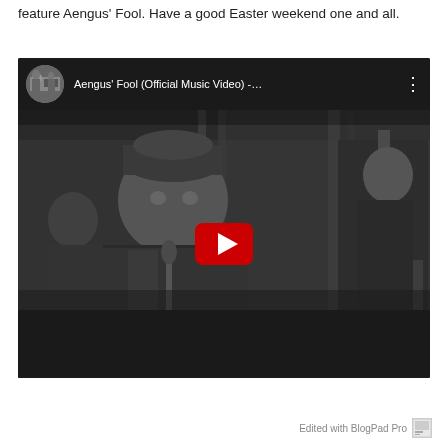feature Aengus' Fool. Have a good Easter weekend one and all.
[Figure (screenshot): Embedded YouTube video player showing 'Aengus' Fool (Official Music Video) -...' with a black and white music performance scene and a red play button overlay.]
Edited with BlogPad Pro